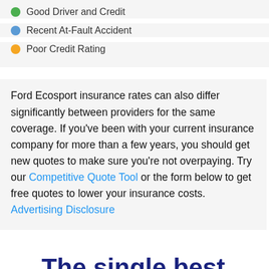Good Driver and Credit
Recent At-Fault Accident
Poor Credit Rating
Ford Ecosport insurance rates can also differ significantly between providers for the same coverage. If you've been with your current insurance company for more than a few years, you should get new quotes to make sure you're not overpaying. Try our Competitive Quote Tool or the form below to get free quotes to lower your insurance costs. Advertising Disclosure
The single best place to buy auto insurance